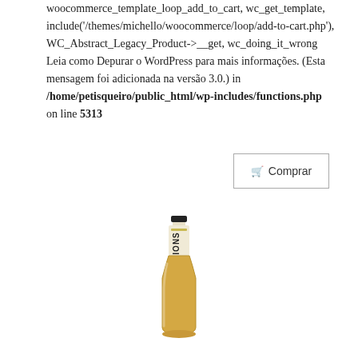woocommerce_template_loop_add_to_cart, wc_get_template, include('/themes/michello/woocommerce/loop/add-to-cart.php'), WC_Abstract_Legacy_Product->__get, wc_doing_it_wrong Leia como Depurar o WordPress para mais informações. (Esta mensagem foi adicionada na versão 3.0.) in /home/petisqueiro/public_html/wp-includes/functions.php on line 5313
[Figure (photo): A bottle of what appears to be a beer or beverage, with a label showing 'LIONS' text, amber/golden liquid visible in the lower part of the bottle]